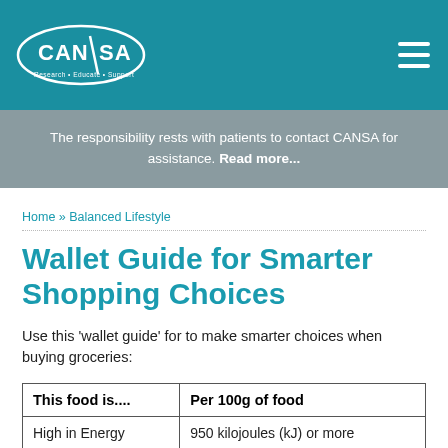[Figure (logo): CANSA logo — oval shape with CAN/SA text and tagline 'Research • Educate • Support']
The responsibility rests with patients to contact CANSA for assistance. Read more...
Home » Balanced Lifestyle
Wallet Guide for Smarter Shopping Choices
Use this 'wallet guide' for to make smarter choices when buying groceries:
| This food is.... | Per 100g of food |
| --- | --- |
| High in Energy | 950 kilojoules (kJ) or more |
| Low in Energy | 170kJ or less |